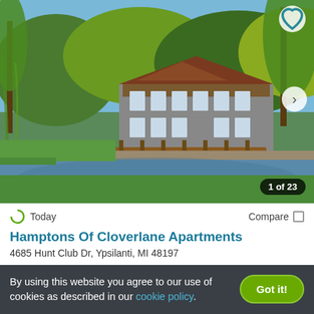[Figure (photo): Aerial/lakeside view of apartment complex (Hamptons of Cloverlane) with willow trees, a pond, and a wooden bridge in front of the building. Blue sky with trees in background.]
Today
Compare
Hamptons Of Cloverlane Apartments
4685 Hunt Club Dr, Ypsilanti, MI 48197
14 Units available
Verified
2 BEDS
By using this website you agree to our use of cookies as described in our cookie policy.